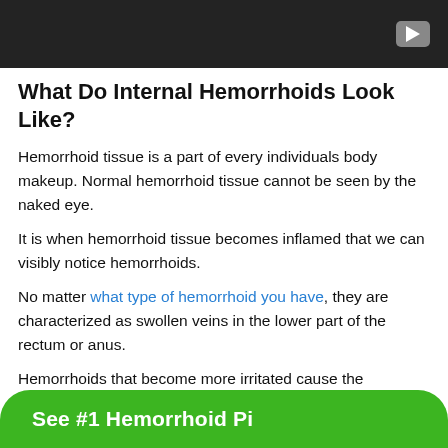[Figure (screenshot): Dark video thumbnail bar with a play button icon on the right side]
What Do Internal Hemorrhoids Look Like?
Hemorrhoid tissue is a part of every individuals body makeup. Normal hemorrhoid tissue cannot be seen by the naked eye.
It is when hemorrhoid tissue becomes inflamed that we can visibly notice hemorrhoids.
No matter what type of hemorrhoid you have, they are characterized as swollen veins in the lower part of the rectum or anus.
Hemorrhoids that become more irritated cause the
See #1 Hemorrhoid Pi...